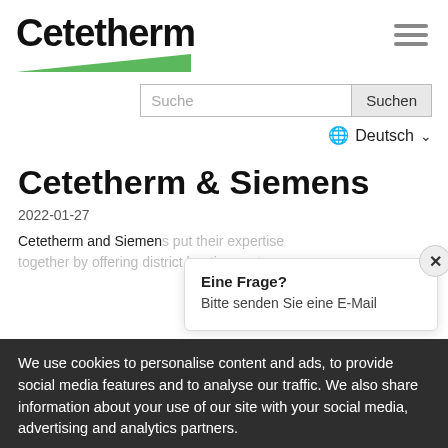[Figure (logo): Cetetherm logo with green triangular bar underneath bold text]
[Figure (other): Hamburger menu icon (three horizontal gray lines)]
[Figure (screenshot): Search bar with text input 'Suche' and button 'Suchen']
🌐 Deutsch ∨
Cetetherm & Siemens
2022-01-27
Cetetherm and Siemens put their expertise together by offering district heating syst...
Eine Frage?
Bitte senden Sie eine E-Mail
We use cookies to personalise content and ads, to provide social media features and to analyse our traffic. We also share information about your use of our site with your social media, advertising and analytics partners.